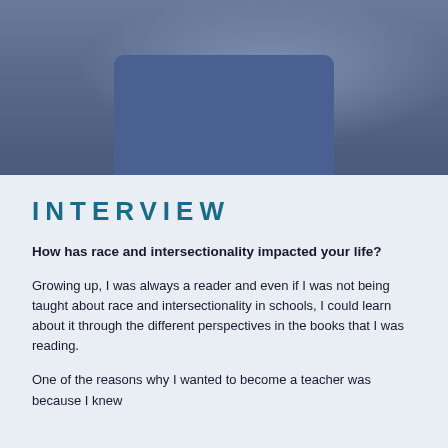[Figure (photo): Partial photo of a person wearing blue scrubs or a blue shirt, cropped to show the torso/chest area from below the chin.]
INTERVIEW
How has race and intersectionality impacted your life?
Growing up, I was always a reader and even if I was not being taught about race and intersectionality in schools, I could learn about it through the different perspectives in the books that I was reading.
One of the reasons why I wanted to become a teacher was because I knew